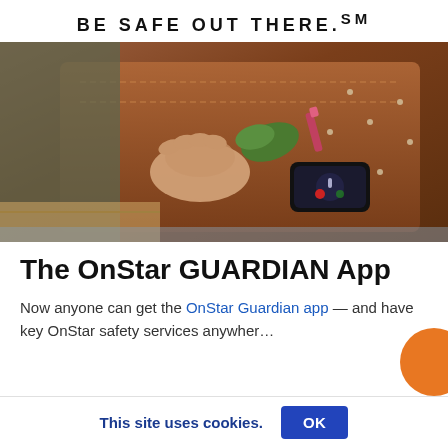BE SAFE OUT THERE.℠
[Figure (photo): Overhead view of a brown leather car seat with a woman's hand resting on a smartphone displaying an OnStar call interface. A green leaf and a pink lipstick tube are nearby. The background shows part of a seatbelt and handbag.]
The OnStar GUARDIAN App
Now anyone can get the OnStar Guardian app — and have key OnStar safety services anywhere
This site uses cookies.
OK